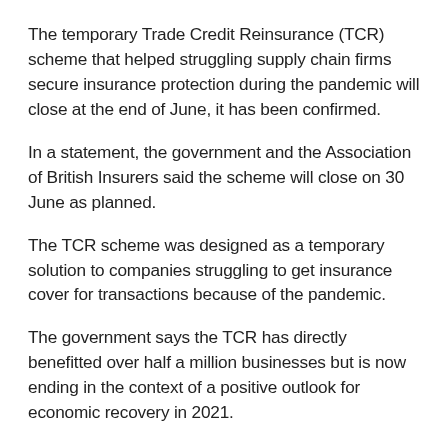The temporary Trade Credit Reinsurance (TCR) scheme that helped struggling supply chain firms secure insurance protection during the pandemic will close at the end of June, it has been confirmed.
In a statement, the government and the Association of British Insurers said the scheme will close on 30 June as planned.
The TCR scheme was designed as a temporary solution to companies struggling to get insurance cover for transactions because of the pandemic.
The government says the TCR has directly benefitted over half a million businesses but is now ending in the context of a positive outlook for economic recovery in 2021.
Participating insurers have indicated to the government that the scheme is no longer required and they are keen to take back full underwriting control.